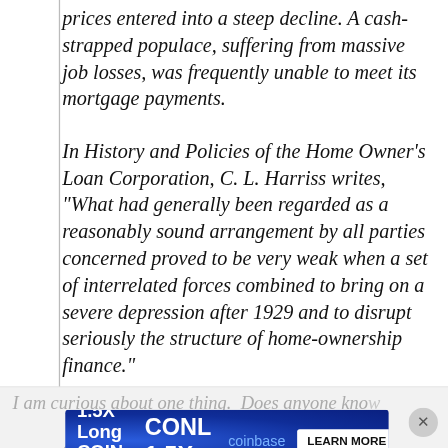prices entered into a steep decline. A cash-strapped populace, suffering from massive job losses, was frequently unable to meet its mortgage payments.
In History and Policies of the Home Owner's Loan Corporation, C. L. Harriss writes, "What had generally been regarded as a reasonably sound arrangement by all parties concerned proved to be very weak when a set of interrelated forces combined to bring on a severe depression after 1929 and to disrupt seriously the structure of home-ownership finance."
I am curious about one thing. Does anyone know... an was referencing that eliminated the down...
[Figure (other): Advertisement banner for '1.5X Long COIN Daily ETF' (CONL) by GraniteShares, distributed by Coinbase, with a 'LEARN MORE' button. Blue background with decorative circular elements.]